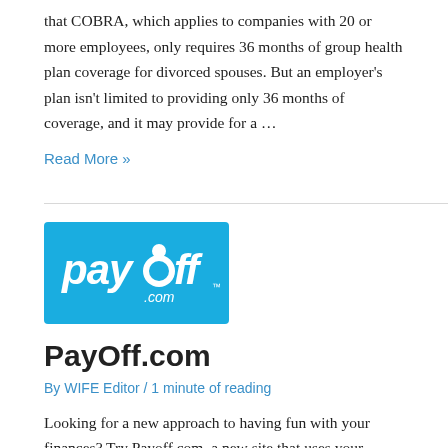that COBRA, which applies to companies with 20 or more employees, only requires 36 months of group health plan coverage for divorced spouses. But an employer's plan isn't limited to providing only 36 months of coverage, and it may provide for a …
Read More »
[Figure (logo): PayOff.com logo — blue background with white stylized text 'payoff.com']
PayOff.com
By WIFE Editor / 1 minute of reading
Looking for a new approach to having fun with your finances? Try Payoff.com, a new site that uses your dreams to inspire sound money management—with a little help from your friends. Payoff is free, and it helps you get your friends involved as a financial